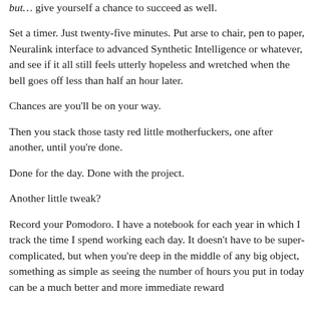but… give yourself a chance to succeed as well.
Set a timer. Just twenty-five minutes. Put arse to chair, pen to paper, Neuralink interface to advanced Synthetic Intelligence or whatever, and see if it all still feels utterly hopeless and wretched when the bell goes off less than half an hour later.
Chances are you'll be on your way.
Then you stack those tasty red little motherfuckers, one after another, until you're done.
Done for the day. Done with the project.
Another little tweak?
Record your Pomodoro. I have a notebook for each year in which I track the time I spend working each day. It doesn't have to be super-complicated, but when you're deep in the middle of any big object, something as simple as seeing the number of hours you put in today can be a much better and more immediate reward